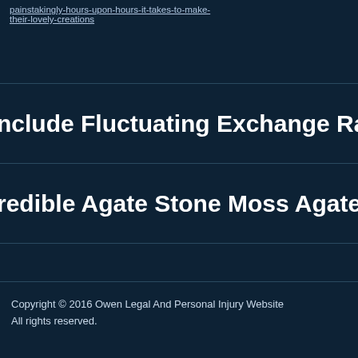painstakingly-hours-upon-hours-it-takes-to-make-their-lovely-creations
Include Fluctuating Exchange Rates For Fo
redible Agate Stone Moss Agate Is One Of
Copyright © 2016 Owen Legal And Personal Injury Website All rights reserved.